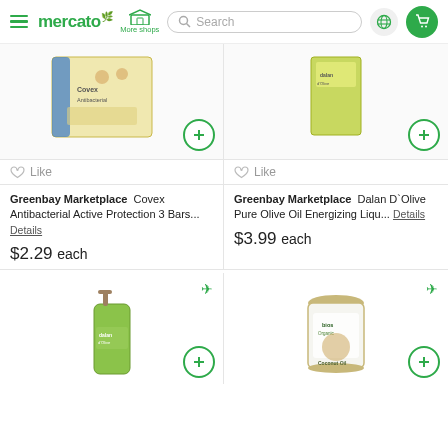mercato — More shops — Search — Globe — Cart
[Figure (photo): Covex Antibacterial Active Protection 3 Bars product box image, partial view, with green add (+) button]
Like
Greenbay Marketplace  Covex Antibacterial Active Protection 3 Bars... Details
$2.29 each
[Figure (photo): Dalan D'Olive Pure Olive Oil Energizing Liquid product image, partial view, with green add (+) button]
Like
Greenbay Marketplace  Dalan D`Olive Pure Olive Oil Energizing Liqu... Details
$3.99 each
[Figure (photo): Dalan d'Olive liquid soap pump bottle, green color, with airplane icon and green add (+) button]
[Figure (photo): Bios Organic Coconut Oil jar, with airplane icon and green add (+) button]